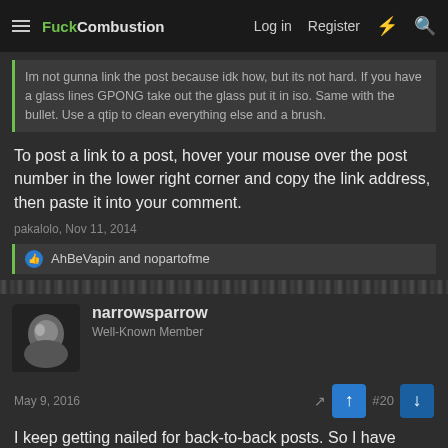FuckCombustion — Log in  Register
Im not gunna link the post because idk how, but its not hard. If you have a glass lines GPONG take out the glass put it in iso. Same with the bullet. Use a qtip to clean everything else and a brush.
To post a link to a post, hover your mouse over the post number in the lower right corner and copy the link address, then paste it into your comment.
pakalolo, Nov 11, 2014
AhBeVapin and nopartofme
narrowsparrow
Well-Known Member
May 9, 2016  #20
I keep getting nailed for back-to-back posts. So I have been very careful to make sure I'm not doing it. If I need to add